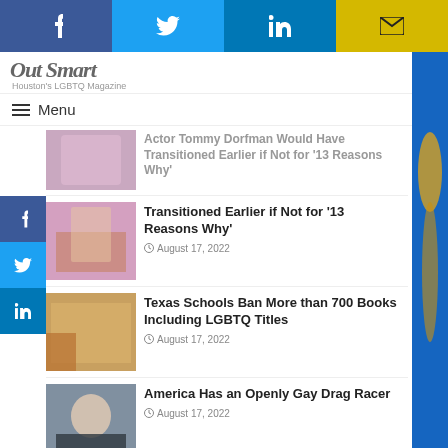[Figure (screenshot): Social share bar with Facebook, Twitter, LinkedIn, and email buttons]
Out Smart — Houston's LGBTQ Magazine
Menu
Actor Tommy Dorfman Would Have Transitioned Earlier if Not for '13 Reasons Why' — August 17, 2022
Texas Schools Ban More than 700 Books Including LGBTQ Titles — August 17, 2022
America Has an Openly Gay Drag Racer — August 17, 2022
Show More